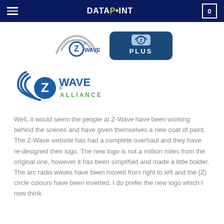DATAPOINT
[Figure (logo): Z-Wave Plus badge logo on dark blue navbar area]
[Figure (logo): Z-Wave Alliance logo with arc radio waves and Z circle]
Well, it would seem the people at Z-Wave have been working behind the scenes and have given themselves a new coat of paint. The Z-Wave website has had a complete overhaul and they have re-designed their logo. The new logo is not a million miles from the original one, however it has been simplified and made a little bolder. The arc radio waves have been moved from right to left and the (Z) circle colours have been inverted. I do prefer the new logo which I now think